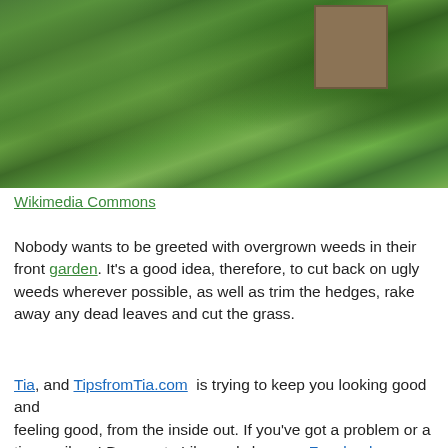[Figure (photo): Overgrown garden with tall weeds, wild grasses, and dense green shrubs in front of a wooden structure]
Wikimedia Commons
Nobody wants to be greeted with overgrown weeds in their front garden. It’s a good idea, therefore, to cut back on ugly weeds wherever possible, as well as trim the hedges, rake away any dead leaves and cut the grass.
Tia, and TipsfromTia.com  is trying to keep you looking good and feeling good, from the inside out. If you’ve got a problem or a tip email me! Be sure to Like and share on Facebook or Follow